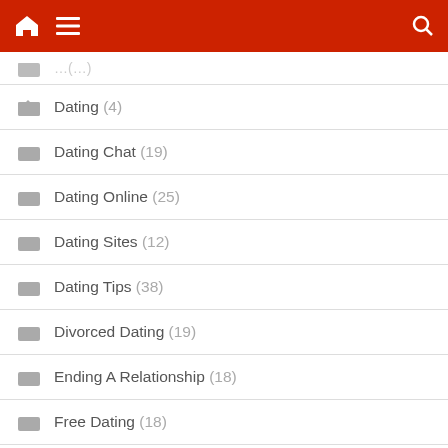Navigation bar with home, menu, and search icons
Dating (4)
Dating Chat (19)
Dating Online (25)
Dating Sites (12)
Dating Tips (38)
Divorced Dating (19)
Ending A Relationship (18)
Free Dating (18)
Free Dating Sites (23)
Marriage Counselling (25)
Marriage Problems (20)